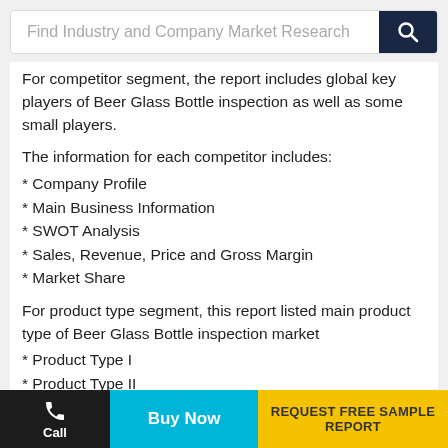Find Industry and Company Market Research
For competitor segment, the report includes global key players of Beer Glass Bottle inspection as well as some small players.
The information for each competitor includes:
* Company Profile
* Main Business Information
* SWOT Analysis
* Sales, Revenue, Price and Gross Margin
* Market Share
For product type segment, this report listed main product type of Beer Glass Bottle inspection market
* Product Type I
* Product Type II
* Product Type III
Call | Buy Now | REQUEST FREE SAMPLE REPORT